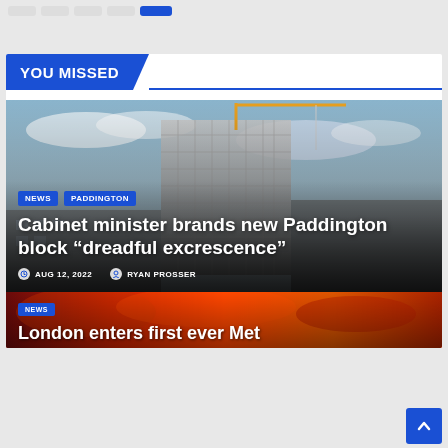Navigation bar with pills
YOU MISSED
[Figure (photo): Construction photo showing a tall building under construction with scaffolding and cranes against a cloudy blue sky]
Cabinet minister brands new Paddington block “dreadful excrescence”
AUG 12, 2022   RYAN PROSSER
[Figure (photo): Dramatic red/orange sky photo used as background for London Met Office article]
London enters first ever Met